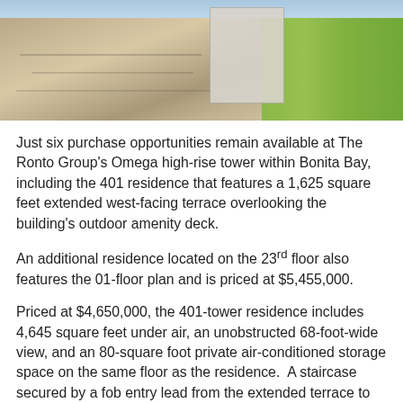[Figure (photo): Aerial photograph of a high-rise construction site (The Ronto Group's Omega tower within Bonita Bay), showing building structure under construction on the left and green grass/lawn area on the right.]
Just six purchase opportunities remain available at The Ronto Group's Omega high-rise tower within Bonita Bay, including the 401 residence that features a 1,625 square feet extended west-facing terrace overlooking the building's outdoor amenity deck.
An additional residence located on the 23rd floor also features the 01-floor plan and is priced at $5,455,000.
Priced at $4,650,000, the 401-tower residence includes 4,645 square feet under air, an unobstructed 68-foot-wide view, and an 80-square foot private air-conditioned storage space on the same floor as the residence.  A staircase secured by a fob entry lead from the extended terrace to Omega's spectacular outdoor amenity deck.  An Artisan gas grill and eased edge White Dream granite countertops are featured on